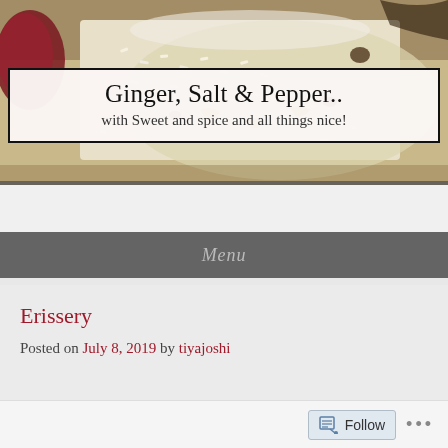[Figure (photo): Header banner photo showing rice dish with nuts and spices in a bowl, with a red onion visible on the left side]
Ginger, Salt & Pepper..
with Sweet and spice and all things nice!
Menu
Erissery
Posted on July 8, 2019 by tiyajoshi
Follow ...